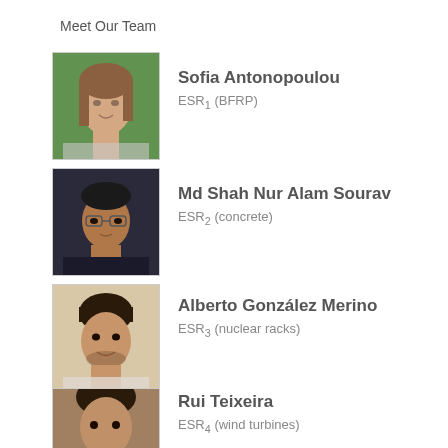Meet Our Team
[Figure (photo): Photo of Sofia Antonopoulou, woman with long brown hair, outdoors with green background]
Sofia Antonopoulou
ESR1 (BFRP)
[Figure (photo): Photo of Md Shah Nur Alam Sourav, young man with glasses, dark shirt]
Md Shah Nur Alam Sourav
ESR2 (concrete)
[Figure (photo): Photo of Alberto González Merino, young man with dark hair, smiling]
Alberto González Merino
ESR3 (nuclear racks)
[Figure (photo): Photo of Rui Teixeira, young man with dark hair, partial view]
Rui Teixeira
ESR4 (wind turbines)